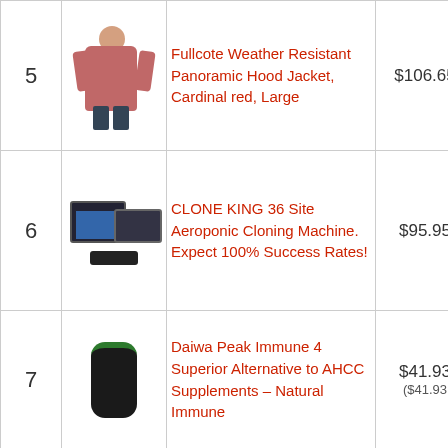| # | Image | Product | Price |  |
| --- | --- | --- | --- | --- |
| 5 | [jacket image] | Fullcote Weather Resistant Panoramic Hood Jacket, Cardinal red, Large | $106.65 | [add to cart] |
| 6 | [cloner image] | CLONE KING 36 Site Aeroponic Cloning Machine. Expect 100% Success Rates! | $95.95 | [add to cart] |
| 7 | [supplement image] | Daiwa Peak Immune 4 Superior Alternative to AHCC Supplements – Natural Immune | $41.93 ($41.93 | [add to cart] |